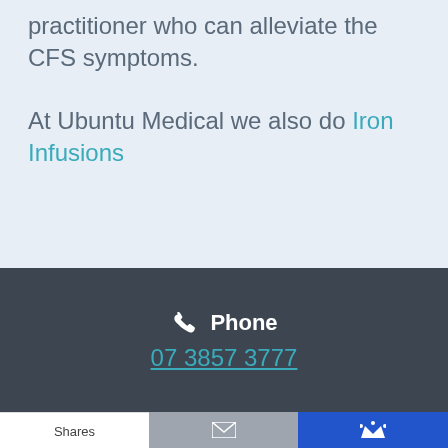practitioner who can alleviate the CFS symptoms.
At Ubuntu Medical we also do Iron Infusions
Phone
07 3857 3777
Shares